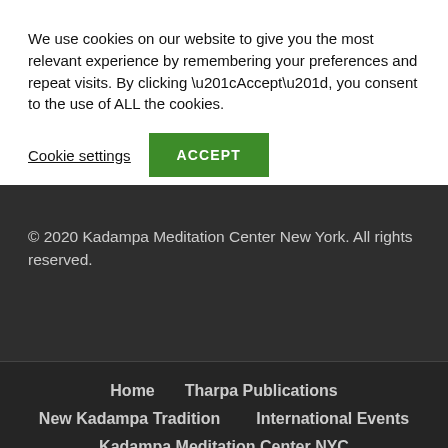We use cookies on our website to give you the most relevant experience by remembering your preferences and repeat visits. By clicking “Accept”, you consent to the use of ALL the cookies.
Cookie settings   ACCEPT
© 2020 Kadampa Meditation Center New York. All rights reserved.
Home   Tharpa Publications   New Kadampa Tradition   International Events   Kadampa Meditation Center NYC   Privacy Policy